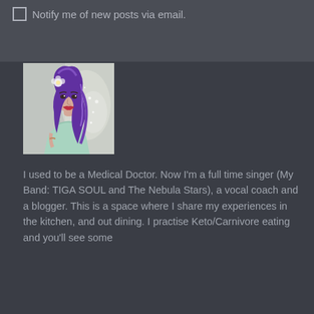Notify me of new posts via email.
[Figure (photo): Portrait photo of a woman with long purple/violet hair wearing a light mint green dress, standing in a bright background with a flower accessory in her hair.]
I used to be a Medical Doctor. Now I'm a full time singer (My Band: TIGA SOUL and The Nebula Stars), a vocal coach and a blogger. This is a space where I share my experiences in the kitchen, and out dining. I practise Keto/Carnivore eating and you'll see some